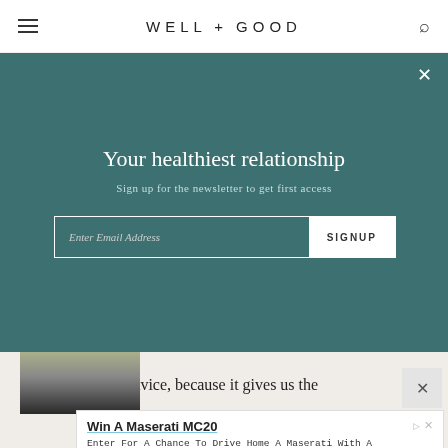WELL+GOOD
Your healthiest relationship
Sign up for the newsletter to get first access
[Figure (screenshot): Email signup form with input field and SIGNUP button on teal newsletter overlay]
[Figure (photo): Partial photo visible below overlay showing person]
This is valuable advice, because it gives us the
[Figure (screenshot): Advertisement: Win A Maserati MC20 - Enter For A Chance To Drive Home A Maserati With A 3.0-Liter Twin-Turbocharged V6 Engine. Omaze. Visit Site button.]